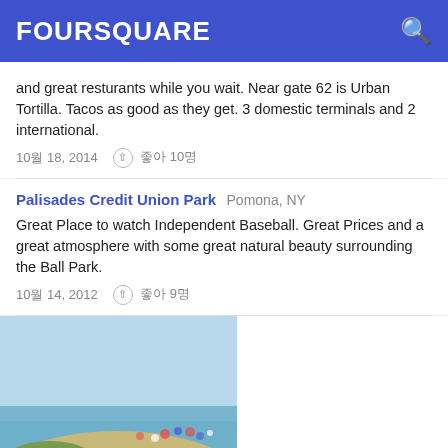FOURSQUARE
and great resturants while you wait. Near gate 62 is Urban Tortilla. Tacos as good as they get. 3 domestic terminals and 2 international.
10월 18, 2014   ↑ 좋아 10명
Palisades Credit Union Park  Pomona, NY
Great Place to watch Independent Baseball. Great Prices and a great atmosphere with some great natural beauty surrounding the Ball Park.
10월 14, 2012   ↑ 좋아 9명
[Figure (photo): Beach scene with sandy path, beachgoers under umbrellas, and ocean/sky in background]
Bradley Beach  Bradley Beach, NJ
Great beach to relax any day of the week. Bring a chair a book and sunscreen. NJ rocks.
8월 26, 2012   ↑ 좋아 8명